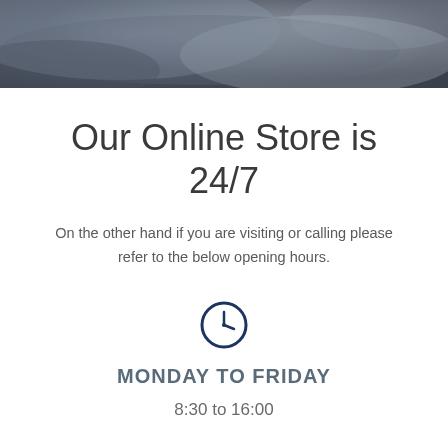[Figure (photo): Abstract dark grey and blue swirling background image at top of page]
Our Online Store is 24/7
On the other hand if you are visiting or calling please refer to the below opening hours.
[Figure (illustration): Clock icon in dark navy blue circle outline]
MONDAY TO FRIDAY
8:30 to 16:00